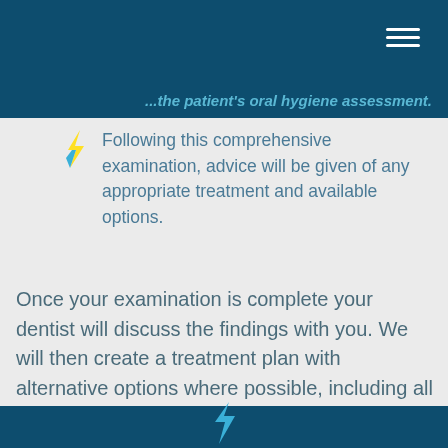...the patient's oral hygiene assessment.
Following this comprehensive examination, advice will be given of any appropriate treatment and available options.
Once your examination is complete your dentist will discuss the findings with you. We will then create a treatment plan with alternative options where possible, including all the benefits and risks of each procedure and the cost.